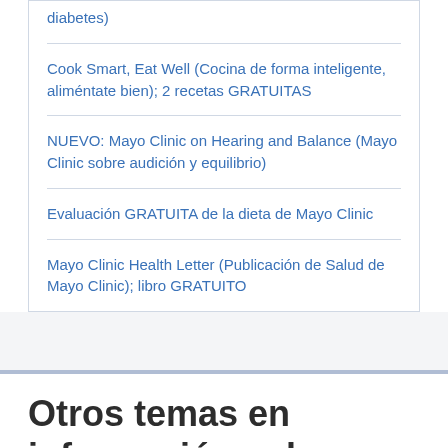diabetes)
Cook Smart, Eat Well (Cocina de forma inteligente, aliméntate bien); 2 recetas GRATUITAS
NUEVO: Mayo Clinic on Hearing and Balance (Mayo Clinic sobre audición y equilibrio)
Evaluación GRATUITA de la dieta de Mayo Clinic
Mayo Clinic Health Letter (Publicación de Salud de Mayo Clinic); libro GRATUITO
Otros temas en información sobre salud